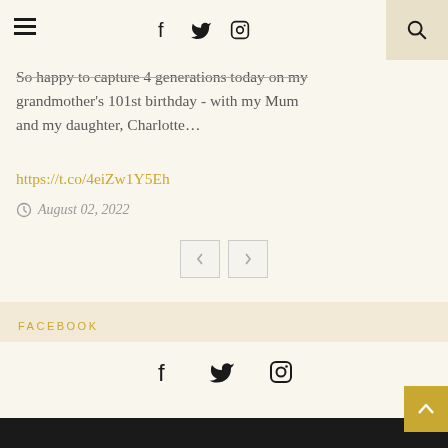≡ [hamburger] [facebook icon] [twitter icon] [instagram icon] [search icon]
So happy to capture 4 generations today on my grandmother's 101st birthday - with my Mum and my daughter, Charlotte…
https://t.co/4eiZw1Y5Eh
August 02, 2022
[Figure (other): Pagination buttons: left arrow and right arrow]
FACEBOOK
[Figure (other): Footer social icons: facebook, twitter, instagram]
Black footer bar with gold scroll-to-top button